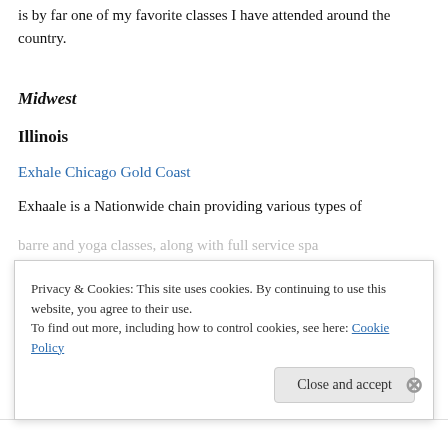is by far one of my favorite classes I have attended around the country.
Midwest
Illinois
Exhale Chicago Gold Coast
Exhaale is a Nationwide chain providing various types of barre and yoga classes, along with full service spa
Privacy & Cookies: This site uses cookies. By continuing to use this website, you agree to their use. To find out more, including how to control cookies, see here: Cookie Policy
Close and accept